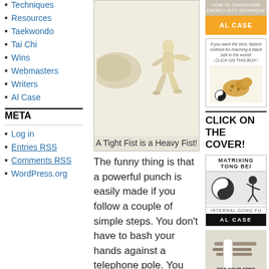Techniques
Resources
Taekwondo
Tai Chi
Wins
Webmasters
Writers
Al Case
META
Log in
Entries RSS
Comments RSS
WordPress.org
[Figure (illustration): 3D rendered figure in a martial arts stance with a fist punching, set against a beige background]
A Tight Fist is a Heavy Fist!
The funny thing is that a powerful punch is easily made if you follow a couple of simple steps. You don't have to bash your hands against a telephone pole. You don't have to spear your fingers into boxes of sand.
[Figure (illustration): Advertisement banner: HOW TO TRANSFORM ENERGY INTO TECHNIQUE, AL CASE orange button]
[Figure (illustration): Advertisement box with leopard image and yin yang symbol, text: if you want the best, fastest method for reaching a black belt in the world! CLICK ON THIS BOX!]
CLICK ON THE COVER!
[Figure (illustration): Book cover: MATRIXING TONG BEI, Internal Gong Fu, AL CASE, featuring yin yang and kung fu figure]
[Figure (photo): Advertisement showing striking tools/rods with text GET YOUR FREE STRIKE]